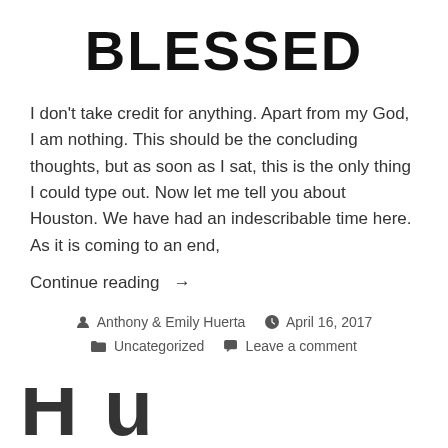BLESSED
I don't take credit for anything. Apart from my God, I am nothing. This should be the concluding thoughts, but as soon as I sat, this is the only thing I could type out. Now let me tell you about Houston. We have had an indescribable time here. As it is coming to an end,
Continue reading →
Anthony & Emily Huerta   April 16, 2017   Uncategorized   Leave a comment